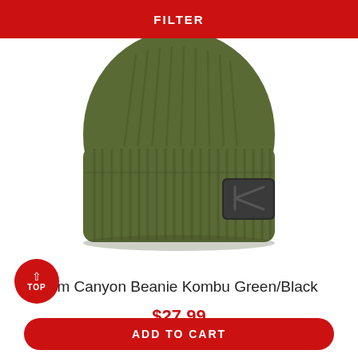FILTER
[Figure (photo): Olive/kombu green knit beanie hat with ribbed cuff and dark grey KLIM logo patch on the right side, photographed against a white background.]
Klim Canyon Beanie Kombu Green/Black
$27.99
ADD TO CART